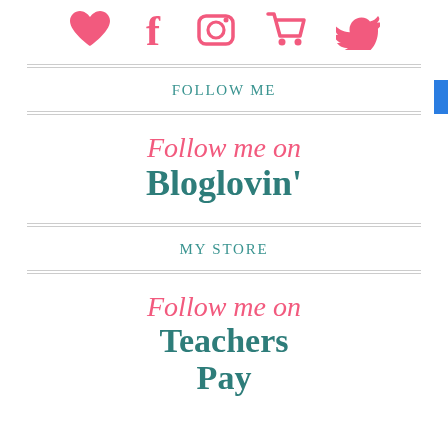[Figure (illustration): Row of five social media icons in pink/coral: heart (Bloglovin), Facebook f, Instagram camera, shopping cart, Twitter bird]
FOLLOW ME
[Figure (illustration): Decorative text reading 'Follow me on Bloglovin'' in cursive pink and bold teal serif fonts]
MY STORE
[Figure (illustration): Decorative text reading 'Follow me on Teachers Pay' in cursive pink and bold teal serif fonts, partially cut off]